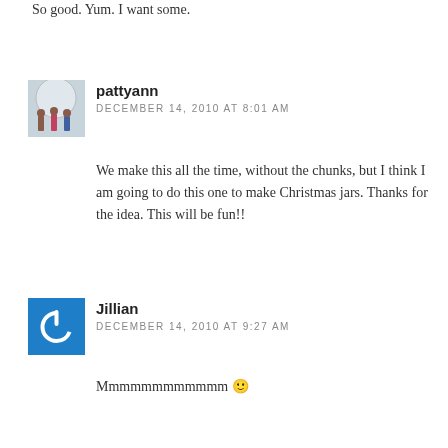So good. Yum. I want some.
[Figure (photo): Avatar photo of pattyann showing people in front of a large spherical structure]
pattyann
DECEMBER 14, 2010 AT 8:01 AM
We make this all the time, without the chunks, but I think I am going to do this one to make Christmas jars. Thanks for the idea. This will be fun!!
[Figure (logo): Blue square avatar with white power button icon for user Jillian]
Jillian
DECEMBER 14, 2010 AT 9:27 AM
Mmmmmmmmmmmm 🙂